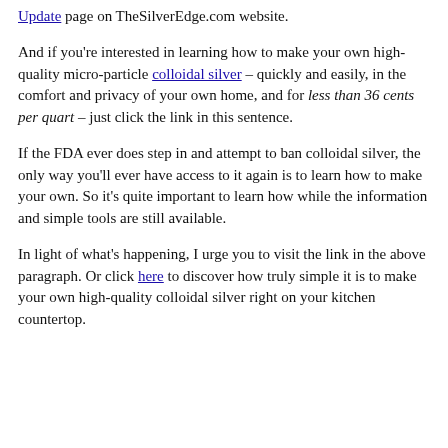Update page on TheSilverEdge.com website.
And if you're interested in learning how to make your own high-quality micro-particle colloidal silver – quickly and easily, in the comfort and privacy of your own home, and for less than 36 cents per quart – just click the link in this sentence.
If the FDA ever does step in and attempt to ban colloidal silver, the only way you'll ever have access to it again is to learn how to make your own. So it's quite important to learn how while the information and simple tools are still available.
In light of what's happening, I urge you to visit the link in the above paragraph. Or click here to discover how truly simple it is to make your own high-quality colloidal silver right on your kitchen countertop.